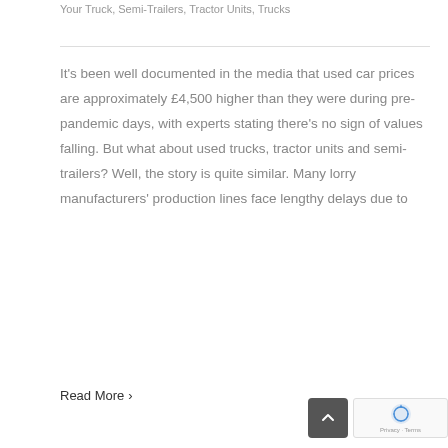Your Truck, Semi-Trailers, Tractor Units, Trucks
It's been well documented in the media that used car prices are approximately £4,500 higher than they were during pre-pandemic days, with experts stating there's no sign of values falling. But what about used trucks, tractor units and semi-trailers? Well, the story is quite similar. Many lorry manufacturers' production lines face lengthy delays due to
Read More ›